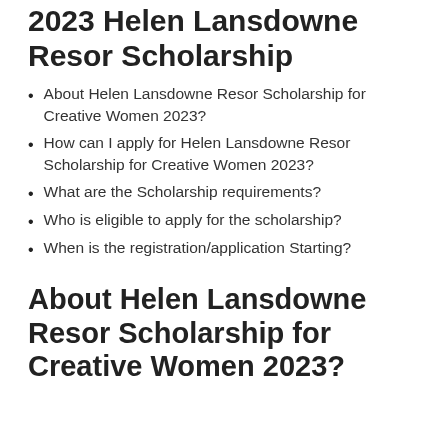2023 Helen Lansdowne Resor Scholarship
About Helen Lansdowne Resor Scholarship for Creative Women 2023?
How can I apply for Helen Lansdowne Resor Scholarship for Creative Women 2023?
What are the Scholarship requirements?
Who is eligible to apply for the scholarship?
When is the registration/application Starting?
About Helen Lansdowne Resor Scholarship for Creative Women 2023?